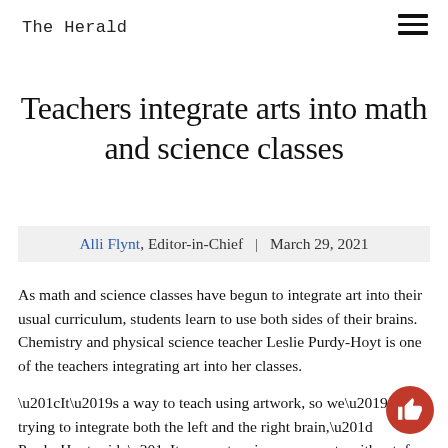The Herald
Teachers integrate arts into math and science classes
Alli Flynt, Editor-in-Chief | March 29, 2021
As math and science classes have begun to integrate art into their usual curriculum, students learn to use both sides of their brains. Chemistry and physical science teacher Leslie Purdy-Hoyt is one of the teachers integrating art into her classes.
“It’s a way to teach using artwork, so we’re trying to integrate both the left and the right brain,” Purdy-Hoyt said. “It connects science concepts with art, for instance, making paint. There’s a chemistry that goes into making paints so you learn a little bit of chemistry